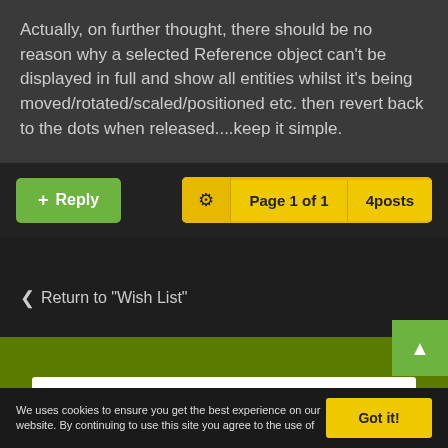Actually, on further thought, there should be no reason why a selected Reference object can't be displayed in full and show all entities whilst it's being moved/rotated/scaled/positioned etc. then revert back to the dots when released....keep it simple.
+ Reply
Page 1 of 1   4posts
< Return to "Wish List"
MAXWELL RENDER V5 SERIES
We uses cookies to ensure you get the best experience on our website. By continuing to use this site you agree to the use of
Got it!